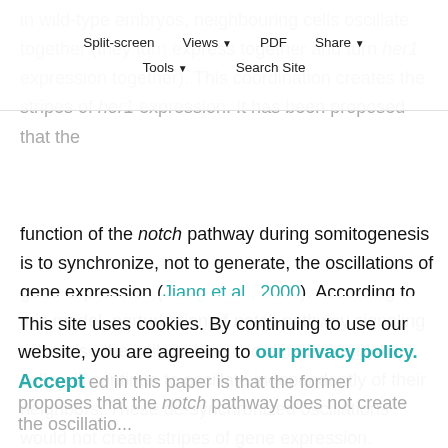function of the notch pathway during somitogenesis is to synchronize, not to generate, the oscillations of gene expression (Jiang et al., 2000). According to this model, perturbation of notch pathway signaling will cause the cells to lose coordination, and the cells will continue to oscillate independently of their neighbors. These de-synchronized oscillations would not create stripes of gene expression. Instead, a 'salt and pepper' pattern is created in which there is random heterogeneity in levels of gene expression among neighboring cells. The important difference between the de-synchronization model and the model presented in this paper is that the former proposes that the notch pathway does not create the oscillations, but
This site uses cookies. By continuing to use our website, you are agreeing to our privacy policy. Accept